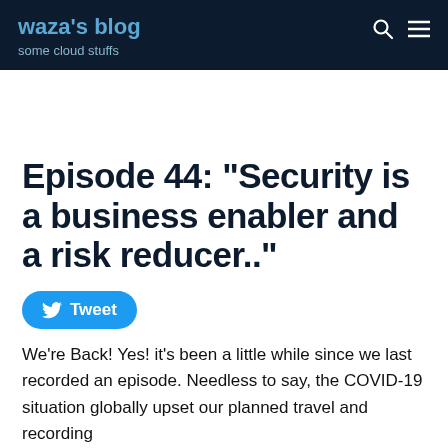waza's blog
some cloud stuffs
Episode 44: "Security is a business enabler and a risk reducer.."
[Figure (other): Tweet button with Twitter bird icon]
We're Back! Yes! it's been a little while since we last recorded an episode. Needless to say, the COVID-19 situation globally upset our planned travel and recording